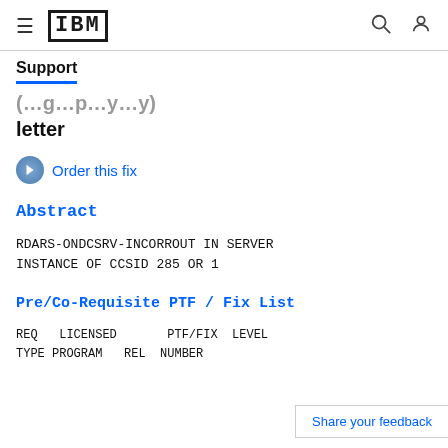IBM Support
letter
Order this fix
Abstract
RDARS-ONDCSRV-INCORREOUT IN SERVER INSTANCE OF CCSID 285 OR 1
Pre/Co-Requisite PTF / Fix List
| REQ TYPE | LICENSED PROGRAM | REL | PTF/FIX NUMBER | LEVEL |
| --- | --- | --- | --- | --- |